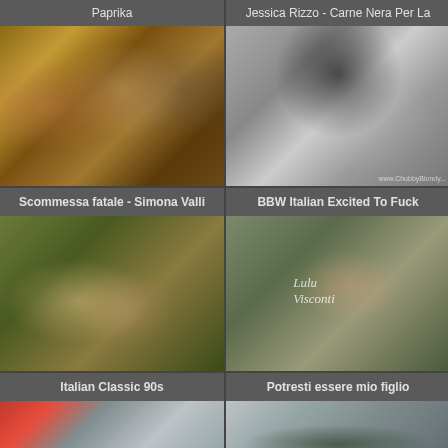Paprika
Jessica Rizzo - Carne Nera Per La
[Figure (photo): Video thumbnail showing three people in a library scene]
[Figure (photo): Video thumbnail of intimate scene, watermark www.ChubbyBlondy visible]
Scommessa fatale - Simona Valli
BBW Italian Excited To Fuck
[Figure (photo): Video thumbnail showing two people, Italian classic 90s style]
[Figure (photo): Video thumbnail of woman outdoors with text Lulu Visconti]
Italian Classic 90s
Potresti essere mio figlio
[Figure (photo): Partial video thumbnail, red awning visible]
[Figure (photo): Partial video thumbnail, mountain landscape]